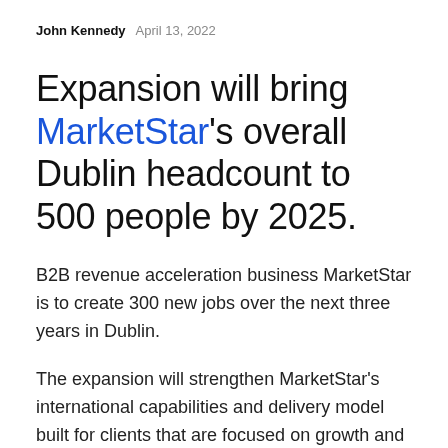John Kennedy   April 13, 2022
Expansion will bring MarketStar's overall Dublin headcount to 500 people by 2025.
B2B revenue acceleration business MarketStar is to create 300 new jobs over the next three years in Dublin.
The expansion will strengthen MarketStar's international capabilities and delivery model built for clients that are focused on growth and scaling globally.